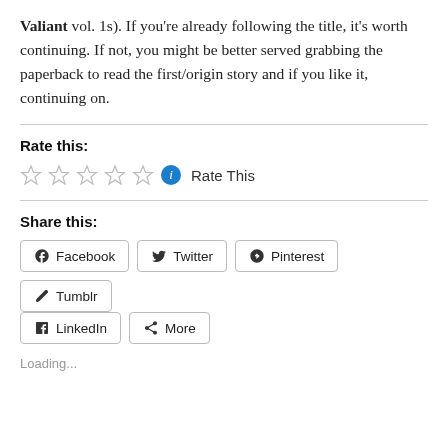Valiant vol. 1s). If you're already following the title, it's worth continuing. If not, you might be better served grabbing the paperback to read the first/origin story and if you like it, continuing on.
Rate this:
☆☆☆☆☆ ℹ Rate This
Share this:
Facebook  Twitter  Pinterest  Tumblr  LinkedIn  More
Loading...